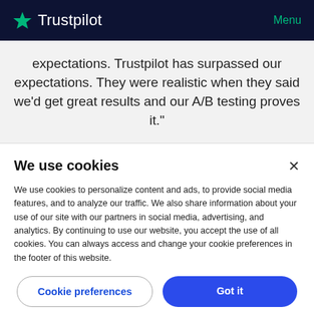Trustpilot   Menu
expectations. Trustpilot has surpassed our expectations. They were realistic when they said we'd get great results and our A/B testing proves it."
We use cookies
We use cookies to personalize content and ads, to provide social media features, and to analyze our traffic. We also share information about your use of our site with our partners in social media, advertising, and analytics. By continuing to use our website, you accept the use of all cookies. You can always access and change your cookie preferences in the footer of this website.
Cookie preferences   Got it